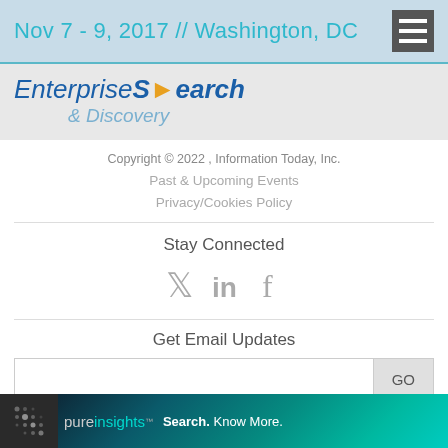Nov 7 - 9, 2017 // Washington, DC
[Figure (logo): Enterprise Search & Discovery conference logo]
Copyright © 2022 , Information Today, Inc.
Past & Upcoming Events
Privacy/Cookies Policy
Stay Connected
[Figure (illustration): Social media icons: Twitter, LinkedIn, Facebook]
Get Email Updates
[Figure (other): Email input form with GO button]
[Figure (other): pureinsights advertisement banner: Search. Know More.]